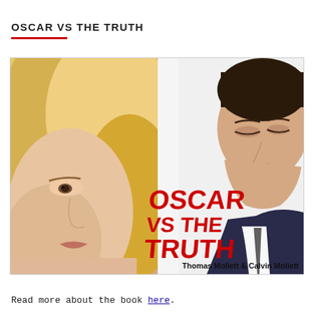OSCAR VS THE TRUTH
[Figure (photo): Book cover image for 'Oscar vs The Truth' by Thomas Mollett & Calvin Mollett, featuring a close-up of a blonde woman's face on the left and a man in a suit looking down on the right, with bold red text reading 'OSCAR VS THE TRUTH' overlaid in the center-right.]
Read more about the book here.